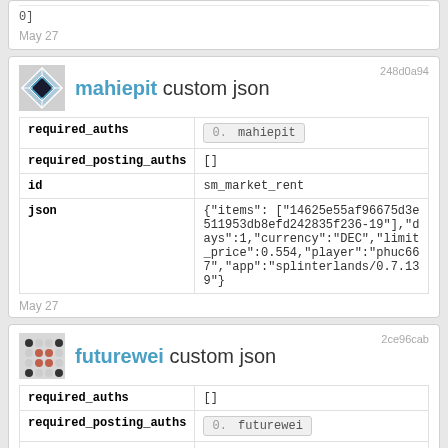0]
May 27
mahiepit custom json
248d0a94
| field | value |
| --- | --- |
| required_auths | 0. mahiepit |
| required_posting_auths | [] |
| id | sm_market_rent |
| json | {"items": ["14625e55af96675d3e511953db8efd242835f236-19"],"days":1,"currency":"DEC","limit_price":0.554,"player":"phuc667","app":"splinterlands/0.7.139"} |
May 27
futurewei custom json
2ce96cab
| field | value |
| --- | --- |
| required_auths | [] |
| required_posting_auths | 0. futurewei |
| id | sm_stake_tokens |
| json | {"token":"SPS","qty":0,"app":"splinterlands/0.7.139","n":"DhbM2nIWmy"} |
May 27